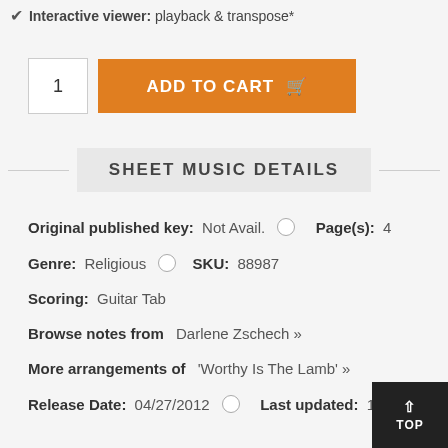Interactive viewer: playback & transpose*
1  ADD TO CART
SHEET MUSIC DETAILS
Original published key: Not Avail.  Page(s): 4
Genre: Religious  SKU: 88987
Scoring: Guitar Tab
Browse notes from Darlene Zschech »
More arrangements of 'Worthy Is The Lamb' »
Release Date: 04/27/2012  Last updated: 11/06/20...